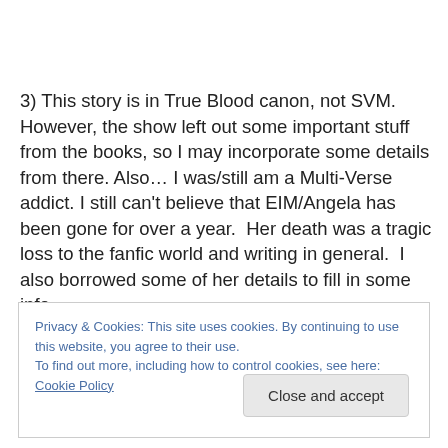3) This story is in True Blood canon, not SVM.  However, the show left out some important stuff from the books, so I may incorporate some details from there. Also… I was/still am a Multi-Verse addict. I still can't believe that EIM/Angela has been gone for over a year.  Her death was a tragic loss to the fanfic world and writing in general.  I also borrowed some of her details to fill in some info
Privacy & Cookies: This site uses cookies. By continuing to use this website, you agree to their use.
To find out more, including how to control cookies, see here: Cookie Policy
Close and accept